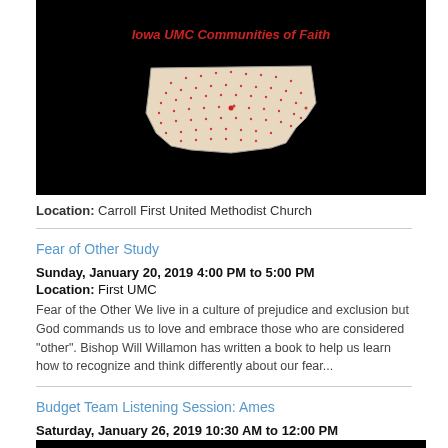[Figure (map): Iowa UMC Communities of Faith event image with map of Iowa on black background with red dots marking church locations]
Location: Carroll First United Methodist Church
Fear of Other Study
Sunday, January 20, 2019 4:00 PM to 5:00 PM
Location: First UMC
Fear of the Other We live in a culture of prejudice and exclusion but God commands us to love and embrace those who are considered "other". Bishop Will Willamon has written a book to help us learn how to recognize and think differently about our fear...
Budget Team Listening Session: Ames
Saturday, January 26, 2019 10:30 AM to 12:00 PM
[Figure (infographic): Iowa Annual Conference Budget Team Listening Sessions - Inspiring, Equipping and Connecting Iowa UMC Communities of Faith on black background]